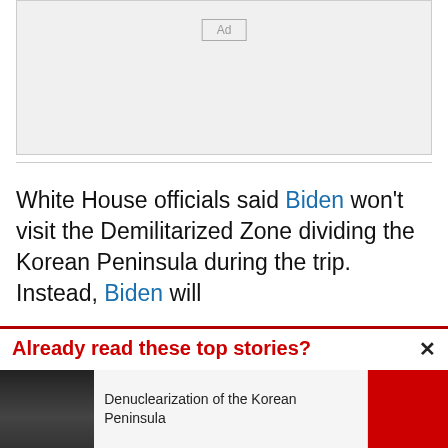[Figure (other): Advertisement placeholder box with 'Ad' label]
White House officials said Biden won't visit the Demilitarized Zone dividing the Korean Peninsula during the trip. Instead, Biden will
Already read these top stories?
[Figure (photo): Photo of a man in a suit]
Denuclearization of the Korean Peninsula
[Figure (photo): Partial photo of a woman at a press conference with red background]